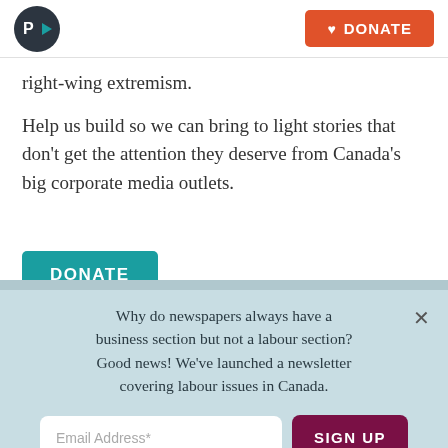P> [logo] | DONATE
right-wing extremism.
Help us build so we can bring to light stories that don't get the attention they deserve from Canada's big corporate media outlets.
DONATE
Why do newspapers always have a business section but not a labour section? Good news! We've launched a newsletter covering labour issues in Canada.
Email Address* | SIGN UP